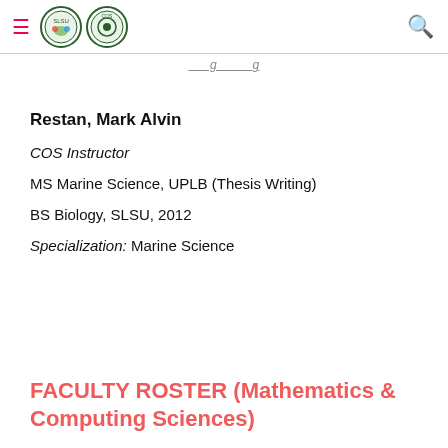≡ [logos] [search]
Restan, Mark Alvin
COS Instructor
MS Marine Science, UPLB (Thesis Writing)
BS Biology, SLSU, 2012
Specialization: Marine Science
FACULTY ROSTER (Mathematics & Computing Sciences)